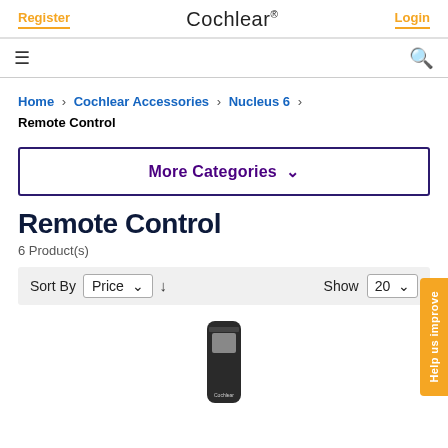Register   Cochlear®   Login
Home > Cochlear Accessories > Nucleus 6 > Remote Control
More Categories ∨
Remote Control
6 Product(s)
Sort By Price ↓   Show 20
[Figure (photo): Remote control device - dark colored handheld remote with screen, partially visible at bottom of page]